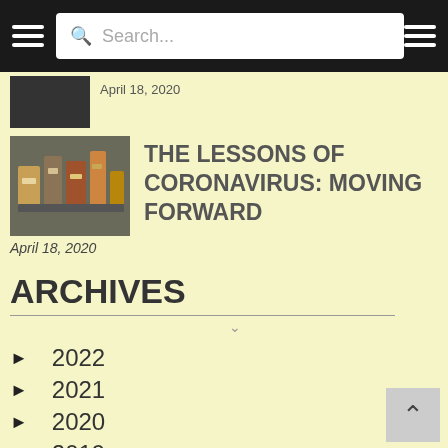Navigation bar with hamburger menus and search box
April 18, 2020 (partial, top article cut off)
THE LESSONS OF CORONAVIRUS: MOVING FORWARD
April 18, 2020
ARCHIVES
▶ 2022
▶ 2021
▶ 2020
▶ 2019
▶ 2018
▶ 2017
▶ 2016